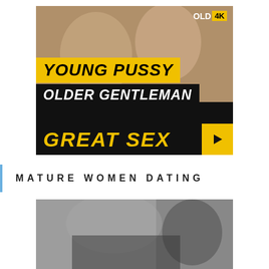[Figure (photo): Adult content advertisement banner with logo 'OLD 4K', yellow text bar 'YOUNG PUSSY', black text bar 'OLDER GENTLEMAN', and bottom bar 'GREAT SEX' with play button]
MATURE WOMEN DATING
[Figure (photo): Black and white photo of two people in an intimate scene]